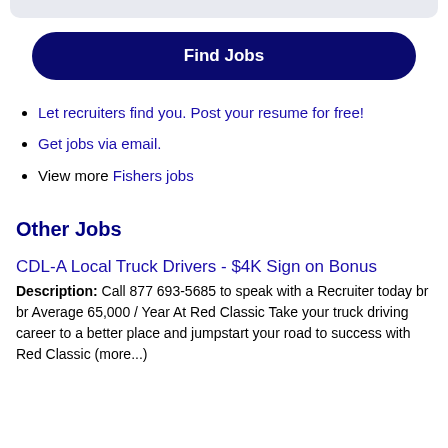Let recruiters find you. Post your resume for free!
Get jobs via email.
View more Fishers jobs
Other Jobs
CDL-A Local Truck Drivers - $4K Sign on Bonus
Description: Call 877 693-5685 to speak with a Recruiter today br br Average 65,000 / Year At Red Classic Take your truck driving career to a better place and jumpstart your road to success with Red Classic (more...)